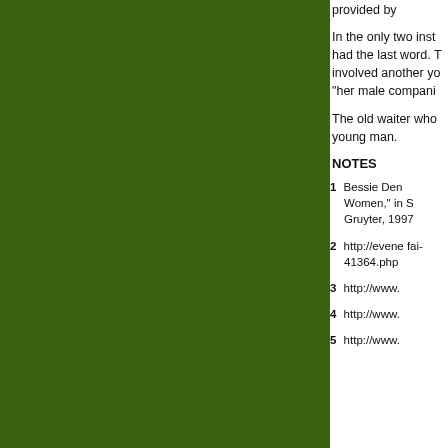[Figure (illustration): Dark olive/forest green rectangular panel occupying the left ~74% of the page]
provided by
In the only two inst had the last word. T involved another yo "her male compani
The old waiter who young man.
NOTES
1  Bessie Den Women," in S Gruyter, 1997
2  http://evene fai-41364.php
3  http://www.
4  http://www.
5  http://www.